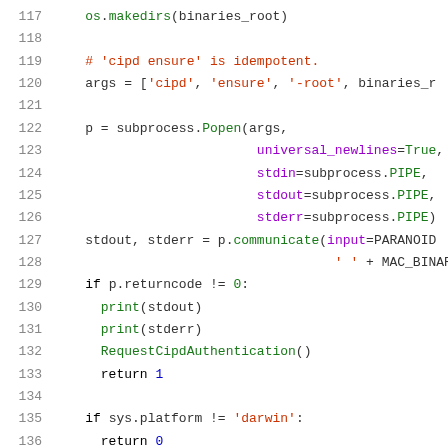[Figure (screenshot): Python source code snippet showing lines 117-137 with syntax highlighting. Code includes os.makedirs, subprocess.Popen call with arguments, p.communicate, returncode check, and sys.platform check.]